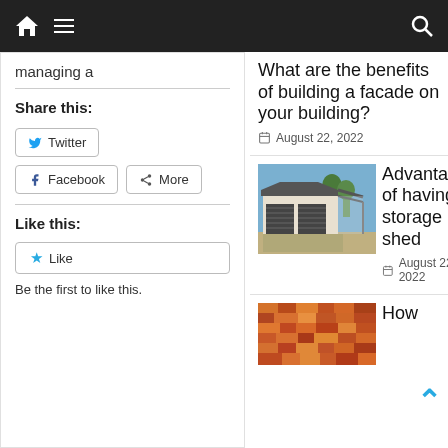Navigation bar with home, menu, and search icons
managing a
Share this:
Twitter
Facebook
More
Like this:
Like
Be the first to like this.
What are the benefits of building a facade on your building?
August 22, 2022
[Figure (photo): A double garage storage shed with roller doors, white walls, and grey roof, with trees in the background]
Advantages of having a storage shed
August 22, 2022
[Figure (photo): Partial view of a colorful textile or woven fabric pattern in orange, red, and yellow tones]
How